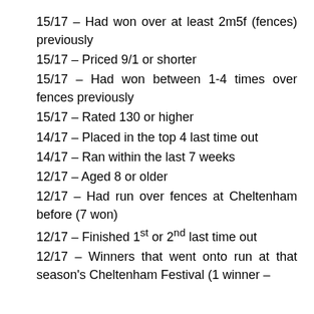15/17 – Had won over at least 2m5f (fences) previously
15/17 – Priced 9/1 or shorter
15/17 – Had won between 1-4 times over fences previously
15/17 – Rated 130 or higher
14/17 – Placed in the top 4 last time out
14/17 – Ran within the last 7 weeks
12/17 – Aged 8 or older
12/17 – Had run over fences at Cheltenham before (7 won)
12/17 – Finished 1st or 2nd last time out
12/17 – Winners that went onto run at that season's Cheltenham Festival (1 winner –